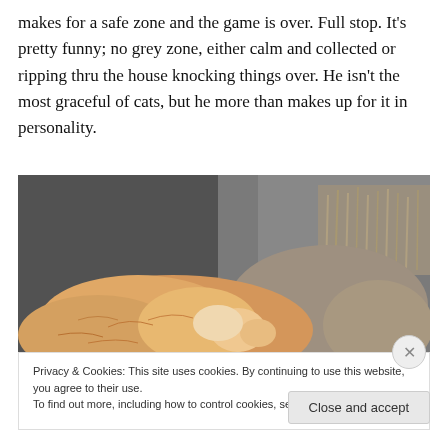makes for a safe zone and the game is over. Full stop. It's pretty funny; no grey zone, either calm and collected or ripping thru the house knocking things over. He isn't the most graceful of cats, but he more than makes up for it in personality.
[Figure (photo): An orange/cream colored cat curled up and sleeping on a grey couch, partially covered by grey fabric or blanket.]
Privacy & Cookies: This site uses cookies. By continuing to use this website, you agree to their use.
To find out more, including how to control cookies, see here: Cookie Policy